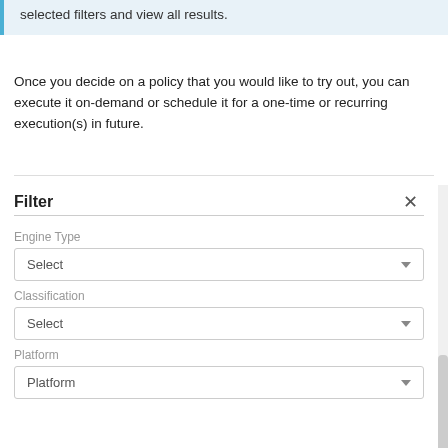selected filters and view all results.
Once you decide on a policy that you would like to try out, you can execute it on-demand or schedule it for a one-time or recurring execution(s) in future.
[Figure (screenshot): A filter panel UI screenshot showing Engine Type, Classification, and Platform dropdown selects, each with 'Select' placeholder text and a dropdown arrow. There is a scrollbar on the right side. The panel header shows 'Filter' in bold with an X close button.]